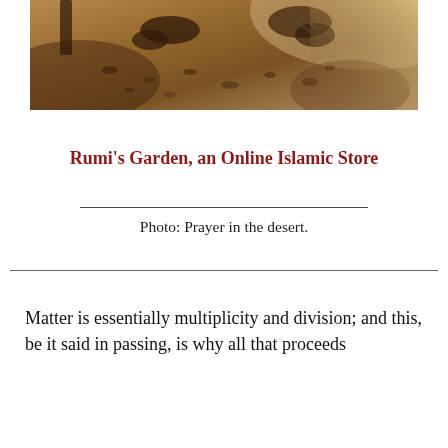[Figure (photo): Sepia-toned photograph of people praying in the desert, taken from above showing figures kneeling on sandy ground with scattered stones or leaves.]
Rumi's Garden, an Online Islamic Store
Photo: Prayer in the desert.
Matter is essentially multiplicity and division; and this, be it said in passing, is why all that proceeds